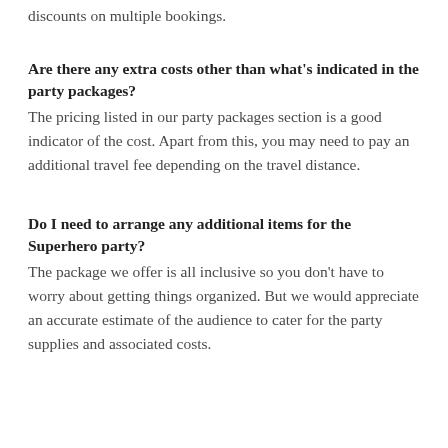discounts on multiple bookings.
Are there any extra costs other than what's indicated in the party packages?
The pricing listed in our party packages section is a good indicator of the cost. Apart from this, you may need to pay an additional travel fee depending on the travel distance.
Do I need to arrange any additional items for the Superhero party?
The package we offer is all inclusive so you don't have to worry about getting things organized. But we would appreciate an accurate estimate of the audience to cater for the party supplies and associated costs.